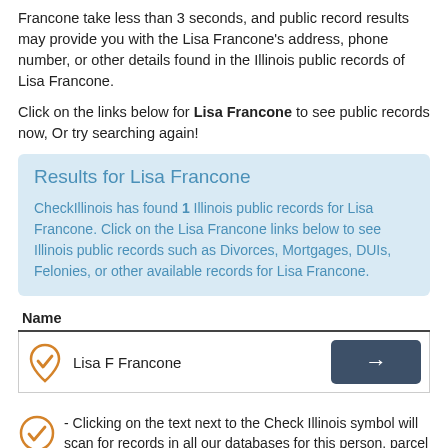Francone take less than 3 seconds, and public record results may provide you with the Lisa Francone's address, phone number, or other details found in the Illinois public records of Lisa Francone.
Click on the links below for Lisa Francone to see public records now, Or try searching again!
Results for Lisa Francone

CheckIllinois has found 1 Illinois public records for Lisa Francone. Click on the Lisa Francone links below to see Illinois public records such as Divorces, Mortgages, DUIs, Felonies, or other available records for Lisa Francone.
| Name |
| --- |
| Lisa F Francone | → |
- Clicking on the text next to the Check Illinois symbol will scan for records in all our databases for this person, parcel number, or phone number.